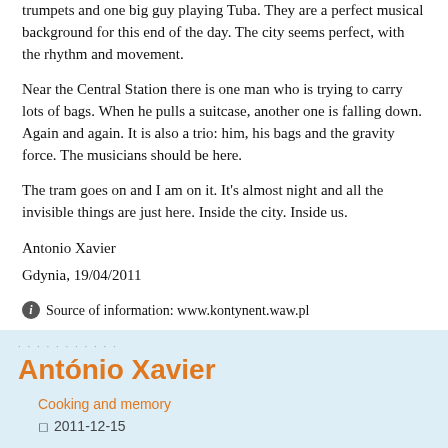trumpets and one big guy playing Tuba. They are a perfect musical background for this end of the day. The city seems perfect, with the rhythm and movement.
Near the Central Station there is one man who is trying to carry lots of bags. When he pulls a suitcase, another one is falling down. Again and again. It is also a trio: him, his bags and the gravity force. The musicians should be here.
The tram goes on and I am on it. It's almost night and all the invisible things are just here. Inside the city. Inside us.
Antonio Xavier
Gdynia, 19/04/2011
Source of information: www.kontynent.waw.pl
António Xavier
Cooking and memory
2011-12-15